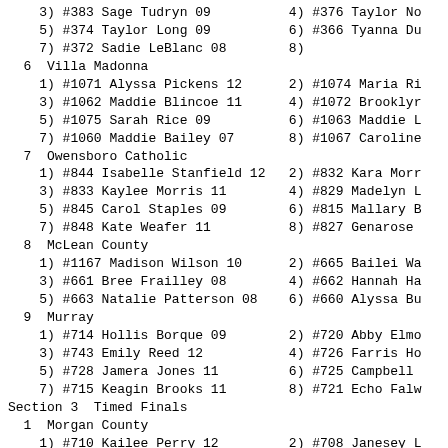3) #383 Sage Tudryn 09
4) #376 Taylor No
5) #374 Taylor Long 09
6) #366 Tyanna Du
7) #372 Sadie LeBlanc 08
8)
6  Villa Madonna
1) #1071 Alyssa Pickens 12
2) #1074 Maria Ri
3) #1062 Maddie Blincoe 11
4) #1072 Brooklyr
5) #1075 Sarah Rice 09
6) #1063 Maddie L
7) #1060 Maddie Bailey 07
8) #1067 Caroline
7  Owensboro Catholic
1) #844 Isabelle Stanfield 12
2) #832 Kara Morr
3) #833 Kaylee Morris 11
4) #829 Madelyn L
5) #845 Carol Staples 09
6) #815 Mallary B
7) #848 Kate Weafer 11
8) #827 Genarose
8  McLean County
1) #1167 Madison Wilson 10
2) #665 Bailei Wa
3) #661 Bree Frailley 08
4) #662 Hannah Ha
5) #663 Natalie Patterson 08
6) #660 Alyssa Bu
9  Murray
1) #714 Hollis Borque 09
2) #720 Abby Elmo
3) #743 Emily Reed 12
4) #726 Farris Ho
5) #728 Jamera Jones 11
6) #725 Campbell
7) #715 Keagin Brooks 11
8) #721 Echo Falw
Section 3  Timed Finals
1  Morgan County
1) #710 Kailee Perry 12
2) #708 Janesey L
3) #706 Heaven Carver 09
4) #707 Jenna Han
5) #704 Faith Bolin 11
6) #705 Autumn Br
7) #711 Krista Perry 10
8) #709 Selena Ni
2  University Heights
1) #1052 Piper Hancock 09
2) #1053 Lilyan H